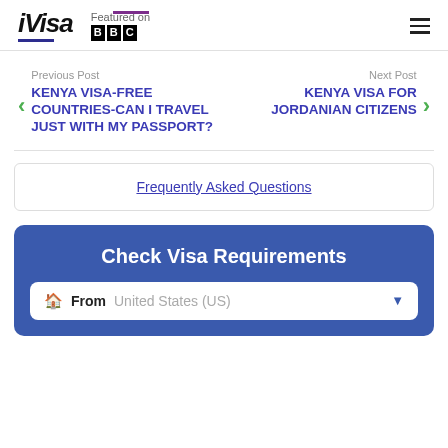iVisa — Featured on BBC
Previous Post
KENYA VISA-FREE COUNTRIES-CAN I TRAVEL JUST WITH MY PASSPORT?
Next Post
KENYA VISA FOR JORDANIAN CITIZENS
Frequently Asked Questions
Check Visa Requirements
From  United States (US)